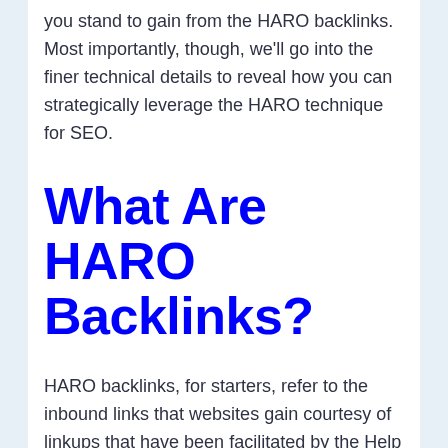you stand to gain from the HARO backlinks. Most importantly, though, we'll go into the finer technical details to reveal how you can strategically leverage the HARO technique for SEO.
What Are HARO Backlinks?
HARO backlinks, for starters, refer to the inbound links that websites gain courtesy of linkups that have been facilitated by the Help A Reporter Out (HARO) program.